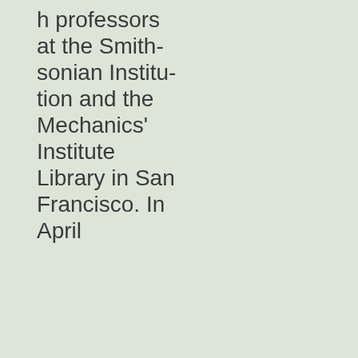h professors at the Smithsonian Institution and the Mechanics' Institute Library in San Francisco. In April